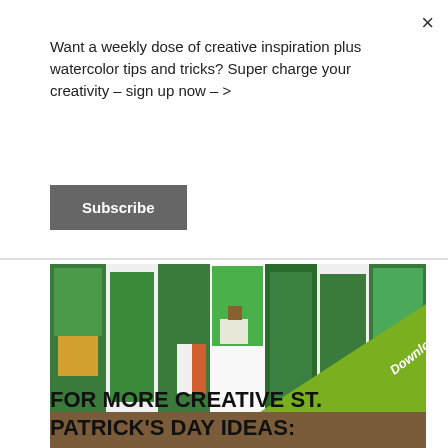Want a weekly dose of creative inspiration plus watercolor tips and tricks? Super charge your creativity – sign up now – >
Subscribe
[Figure (photo): A collection of St. Patrick's Day themed watercolor cards fanned out on a wooden surface, featuring shamrocks, Irish flags, sheep, rainbows, and a leprechaun. A green diagonal 'Download Now' banner overlays the bottom-right corner.]
FOR MORE CREATIVE ST. PATRICK'S DAY IDEAS: